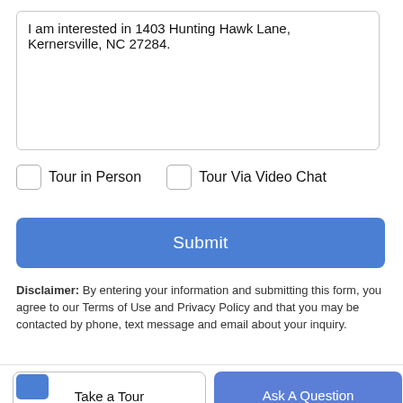I am interested in 1403 Hunting Hawk Lane, Kernersville, NC 27284.
Tour in Person
Tour Via Video Chat
Submit
Disclaimer: By entering your information and submitting this form, you agree to our Terms of Use and Privacy Policy and that you may be contacted by phone, text message and email about your inquiry.
Take a Tour
Ask A Question